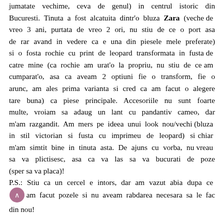jumatate vechime, ceva de genul) in centrul istoric din Bucuresti. Tinuta a fost alcatuita dintr'o bluza Zara (veche de vreo 3 ani, purtata de vreo 2 ori, nu stiu de ce o port asa de rar avand in vedere ca e una din piesele mele preferate) si o fosta rochie cu print de leopard transformata in fusta de catre mine (ca rochie am urat'o la propriu, nu stiu de ce am cumparat'o, asa ca aveam 2 optiuni fie o transform, fie o arunc, am ales prima varianta si cred ca am facut o alegere tare buna) ca piese principale. Accesoriile nu sunt foarte multe, vroiam sa adaug un lant cu pandantiv cameo, dar m'am razgandit. Am mers pe ideea unui look nou/vechi (bluza in stil victorian si fusta cu imprimeu de leopard) si chiar m'am simtit bine in tinuta asta. De ajuns cu vorba, nu vreau sa va plictisesc, asa ca va las sa va bucurati de poze (sper sa va placa)!
P.S.: Stiu ca un cercel e intors, dar am vazut abia dupa ce am facut pozele si nu aveam rabdarea necesara sa le fac din nou!